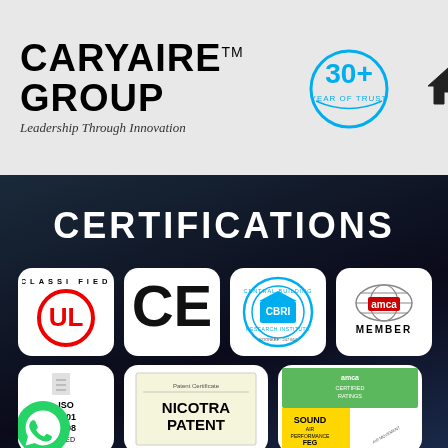[Figure (logo): Caryaire Group logo with text CARYAIRE GROUP and tagline Leadership Through Innovation, plus 30+ Year of Trust badge and home icon]
CERTIFICATIONS
[Figure (logo): Seven certification logos: UL Classified, CE mark, CBRI Central Building Research Institute, AMCA Member, ISO 9001 2008 Certified, Nicotra Patent, AMCA Certified Ratings (Sound, Air Performance, FEG)]